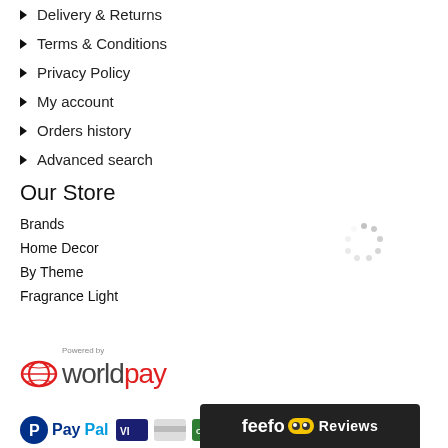Delivery & Returns
Terms & Conditions
Privacy Policy
My account
Orders history
Advanced search
Our Store
Brands
Home Decor
By Theme
Fragrance Light
[Figure (logo): Worldpay payment logo with 'Powered by' text above]
[Figure (logo): PayPal logo and other payment method icons including Visa, and credit card logos]
[Figure (logo): Feefo Reviews banner with yellow smiley eyes]